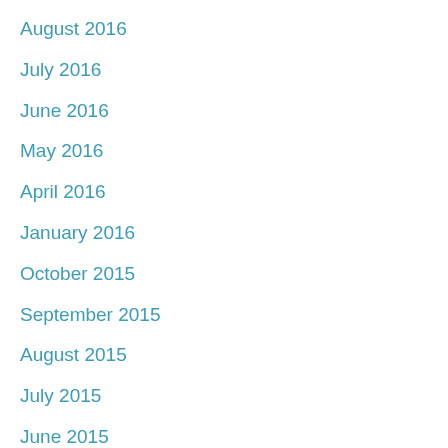August 2016
July 2016
June 2016
May 2016
April 2016
January 2016
October 2015
September 2015
August 2015
July 2015
June 2015
May 2015
March 2015
November 2014
October 2014